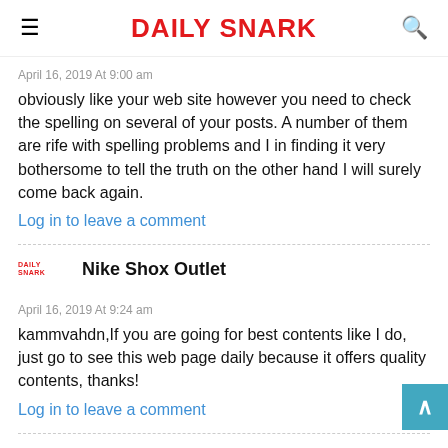Daily Snark
April 16, 2019 At 9:00 am
obviously like your web site however you need to check the spelling on several of your posts. A number of them are rife with spelling problems and I in finding it very bothersome to tell the truth on the other hand I will surely come back again.
Log in to leave a comment
Nike Shox Outlet
April 16, 2019 At 9:24 am
kammvahdn,If you are going for best contents like I do, just go to see this web page daily because it offers quality contents, thanks!
Log in to leave a comment
Fashion